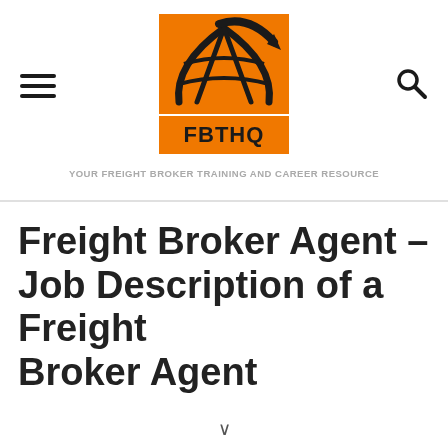[Figure (logo): FBTHQ logo: orange square background with black globe/road graphic above, and orange rectangle with bold black text FBTHQ below]
YOUR FREIGHT BROKER TRAINING AND CAREER RESOURCE
Freight Broker Agent – Job Description of a Freight Broker Agent